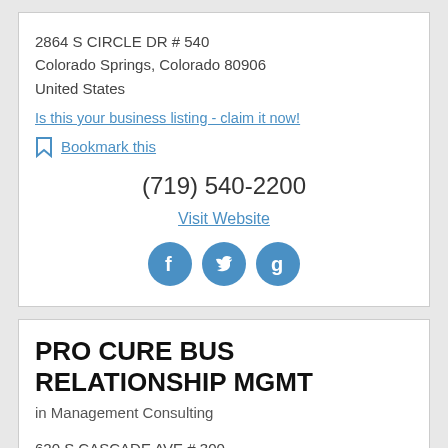2864 S CIRCLE DR # 540
Colorado Springs, Colorado 80906
United States
Is this your business listing - claim it now!
Bookmark this
(719) 540-2200
Visit Website
[Figure (other): Social media icons: Facebook, Twitter, Google+]
PRO CURE BUS RELATIONSHIP MGMT
in Management Consulting
620 S CASCADE AVE # 300
Colorado Springs, Colorado 80903
United States